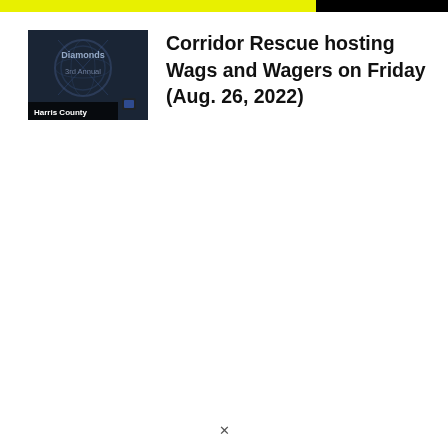[Figure (photo): Thumbnail image for article about Corridor Rescue Wags and Wagers event, showing a dark blue graphic with text 'Diamonds 3rd Annual' and a label 'Harris County' at the bottom.]
Corridor Rescue hosting Wags and Wagers on Friday (Aug. 26, 2022)